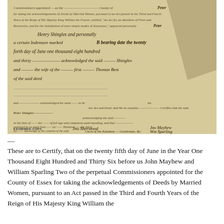[Figure (photo): Photograph of a handwritten historical legal document from 1836, showing cursive script text about acknowledgement of deeds by married women in Essex County, with signatures including 'Jno Sherwood' as Clerk and 'Jno Mayhew' and 'Wm Sparling'. Text includes 'Henry Shingles and personally a certain Indenture marked B bearing date the twenty fourth day of June one thousand eight hundred and thirty...' and references to the Third and Fourth Years of the Reign of His Majesty King William the Fourth. Bottom reads 'EXAMINED COPY.' with signatures.]
— These are to Certify, that on the twenty fifth day of June in the Year One Thousand Eight Hundred and Thirty Six before us John Mayhew and William Sparling Two of the perpetual Commissioners appointed for the County of Essex for taking the acknowledgements of Deeds by Married Women, pursuant to an Act passed in the Third and Fourth Years of the Reign of His Majesty King William the